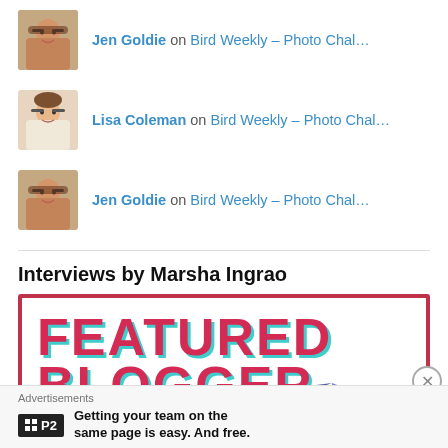Jen Goldie on Bird Weekly – Photo Chal…
Lisa Coleman on Bird Weekly – Photo Chal…
Jen Goldie on Bird Weekly – Photo Chal…
Interviews by Marsha Ingrao
[Figure (illustration): Featured Blogger banner image with bold red and teal text reading FEATURED BLOGGER on white background with red border]
Advertisements
Getting your team on the same page is easy. And free.